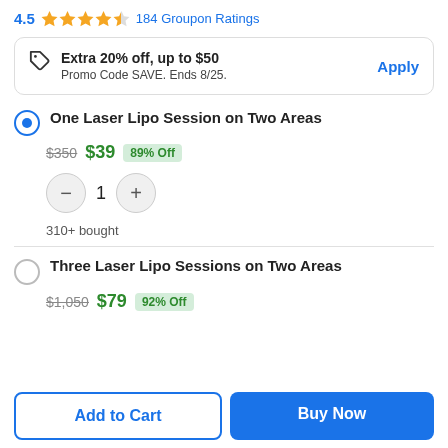4.5 ★★★★½ 184 Groupon Ratings
Extra 20% off, up to $50
Promo Code SAVE. Ends 8/25.   Apply
One Laser Lipo Session on Two Areas — $350 $39 89% Off — 1 — 310+ bought
Three Laser Lipo Sessions on Two Areas — $1,050 $79 92% Off
Add to Cart   Buy Now